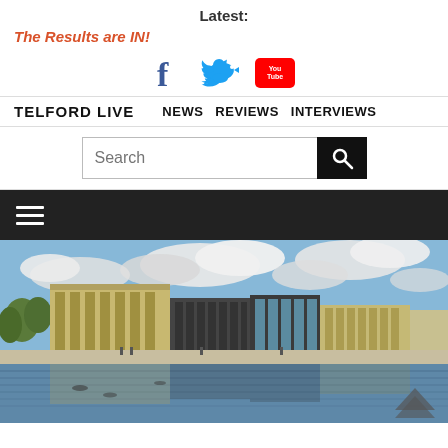Latest:
The Results are IN!
[Figure (illustration): Social media icons: Facebook (f), Twitter (bird), YouTube (You Tube logo)]
TELFORD LIVE   NEWS   REVIEWS   INTERVIEWS
[Figure (screenshot): Search bar with placeholder text 'Search' and a black search button with magnifying glass icon]
[Figure (illustration): Black navigation bar with white hamburger menu icon (three horizontal lines)]
[Figure (photo): Photograph of Telford town centre buildings reflected in a lake or pool, with cloudy sky. Shows modern and older architecture including a large multi-storey building and a curved glass-fronted building.]